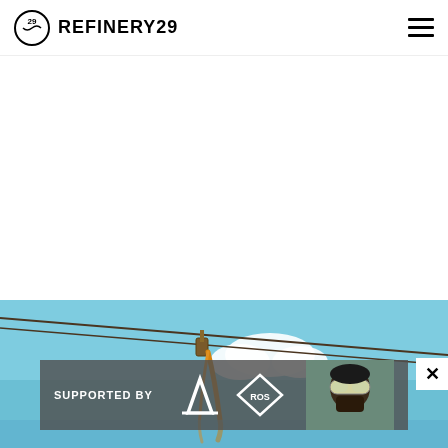REFINERY29
[Figure (photo): Outdoor photo with blue sky, power lines, and a person zip-lining with orange hair visible. Bottom portion shows a 'SUPPORTED BY adidas ROS' ad banner with a person wearing ski goggles.]
SUPPORTED BY adidas ROS